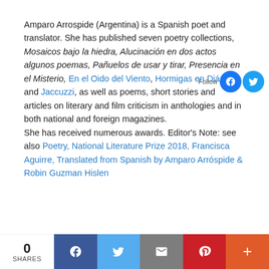Amparo Arrospide (Argentina) is a Spanish poet and translator. She has published seven poetry collections, Mosaicos bajo la hiedra, Alucinación en dos actos algunos poemas, Pañuelos de usar y tirar, Presencia en el Misterio, En el Oido del Viento, Hormigas en Diáspora and Jaccuzzi, as well as poems, short stories and articles on literary and film criticism in anthologies and in both national and foreign magazines. She has received numerous awards. Editor's Note: see also Poetry, National Literature Prize 2018, Francisca Aguirre, Translated from Spanish by Amparo Arróspide & Robin Guzman Hislen
0 SHARES | Share on Facebook | Share on Twitter | Email | Pinterest | More